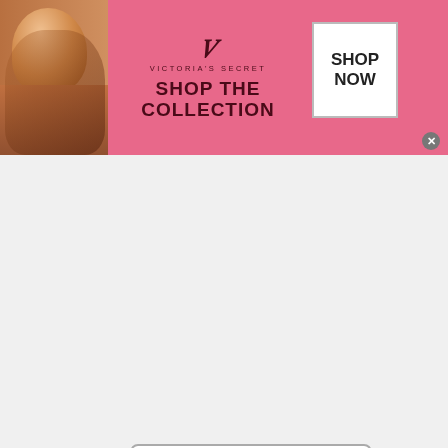[Figure (other): Victoria's Secret advertisement banner with pink background, model photo, VS logo, 'SHOP THE COLLECTION' text, and 'SHOP NOW' button]
Kosovar World Chat
Kosovar International Chat
Kosovar Depression Chat
Kosovar TWS Chat Avenue
Kosovar Things to Talk About
Kosovar Free Chat Now
Kosovar Chat with Friends
[Figure (other): Wayfair.com advertisement - Online Home Store Sale with bedroom furniture image and circular play button]